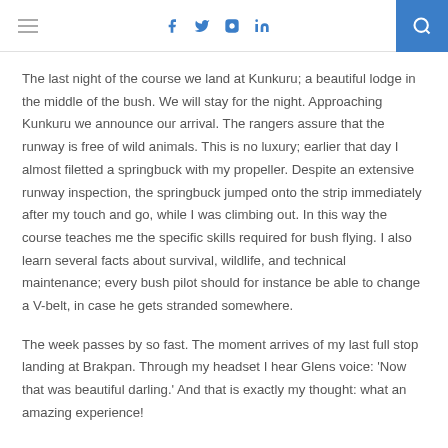≡  f  twitter  instagram  in  🔍
The last night of the course we land at Kunkuru; a beautiful lodge in the middle of the bush. We will stay for the night. Approaching Kunkuru we announce our arrival. The rangers assure that the runway is free of wild animals. This is no luxury; earlier that day I almost filetted a springbuck with my propeller. Despite an extensive runway inspection, the springbuck jumped onto the strip immediately after my touch and go, while I was climbing out. In this way the course teaches me the specific skills required for bush flying. I also learn several facts about survival, wildlife, and technical maintenance; every bush pilot should for instance be able to change a V-belt, in case he gets stranded somewhere.
The week passes by so fast. The moment arrives of my last full stop landing at Brakpan. Through my headset I hear Glens voice: 'Now that was beautiful darling.' And that is exactly my thought: what an amazing experience!